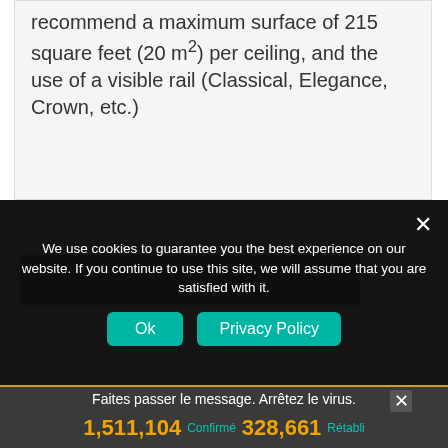recommend a maximum surface of 215 square feet (20 m²) per ceiling, and the use of a visible rail (Classical, Elegance, Crown, etc.)
[Figure (photo): Gray image strip placeholder visible below white content box]
We use cookies to guarantee you the best experience on our website. If you continue to use this site, we will assume that you are satisfied with it.
Ok
Privacy Policy
Faites passer le message. Arrêtez le virus.
MAINS Se les laver souvent  COUDE Tousser dans  VISAGE Ne pas toucher  ESPACE Éviter la foule  MAISON Rester à l'intérieur
1,511,104  Confirmé  328,661  Rétabli